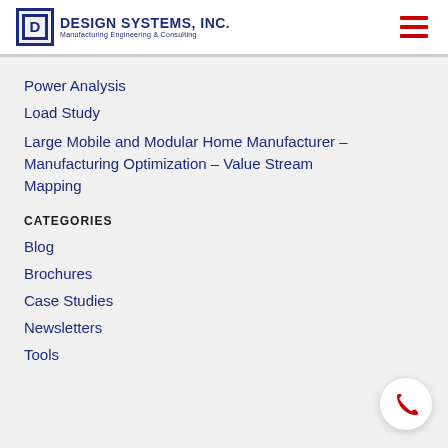DESIGN SYSTEMS, INC. Manufacturing Engineering & Consulting
Power Analysis
Load Study
Large Mobile and Modular Home Manufacturer – Manufacturing Optimization – Value Stream Mapping
CATEGORIES
Blog
Brochures
Case Studies
Newsletters
Tools